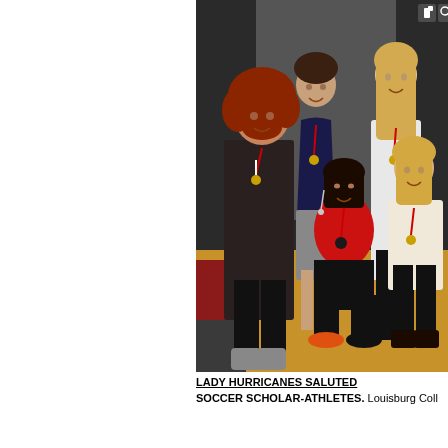[Figure (photo): Group photo of five young women wearing red-white-blue medals, posed in a gymnasium/event space. Four standing and one crouching in front. They are the Louisburg College Lady Hurricanes soccer scholar-athletes.]
LADY HURRICANES SALUTED
SOCCER SCHOLAR-ATHLETES. Louisburg Coll